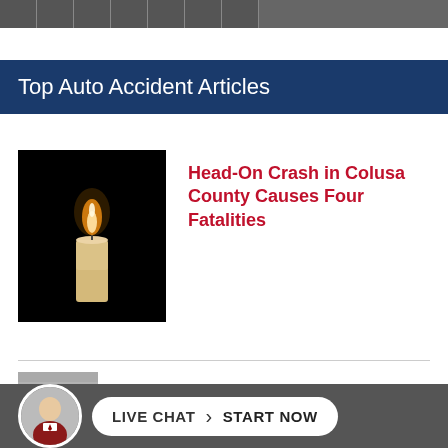[Navigation icon bar]
Top Auto Accident Articles
[Figure (photo): A lit white candle against a dark/black background, with warm flame glow visible.]
Head-On Crash in Colusa County Causes Four Fatalities
[Figure (photo): Live chat widget footer bar with attorney avatar photo, showing LIVE CHAT | START NOW button in white rounded pill shape on dark gray background.]